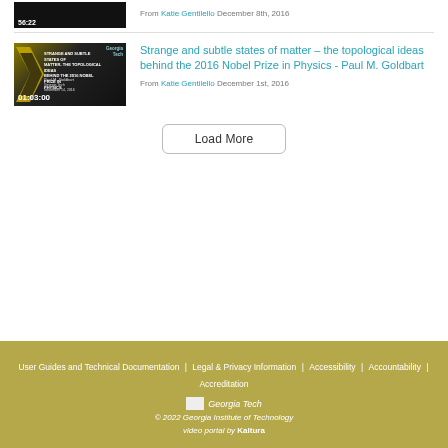[Figure (screenshot): Partial video thumbnail showing 56:22 duration, dark background with gold elements]
From Katie Gentilello December 8th, 2016
[Figure (screenshot): Video thumbnail for Strange and Subtle States of Matter - The Topological Ideas Behind the 2016 Nobel Prize in Physics by Paul M. Goldbart, Georgia Tech, November 14 2016, duration 01:03:00]
Strange and subtle states of matter – the topological ideas behind the 2016 Nobel Prize in Physics - Paul M. Goldbart
From Katie Gentilello December 1st, 2016
Load More
User Guides and Technical Documentation | Legal & Privacy Information | Accessibility | Accountability | Accreditation
Georgia Tech
© 2022 Georgia Institute of Technology
video portal by Kaltura